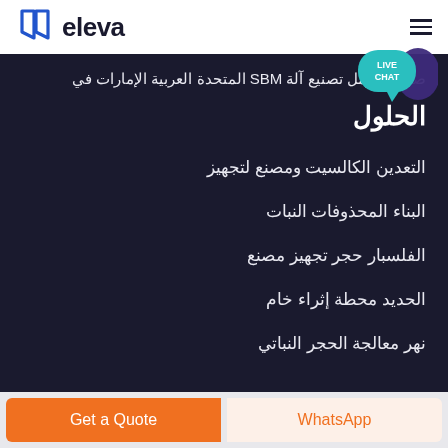eleva
[Figure (logo): Eleva logo with blue book icon and bold text 'eleva']
[Figure (infographic): Live chat speech bubble in teal color with text 'LIVE CHAT' and purple decorative bubble]
صممه الرمل تصنيع آلة SBM المتحدة العربية الإمارات في
الحلول
التعدين الكالسيت ومصنع لتجهيز
البناء المحذوفات النبات
الفلسبار حجر تجهيز مصنع
الحديد محطة إثراء خام
نهر معالجة الحجر النباتي
Get a Quote | WhatsApp